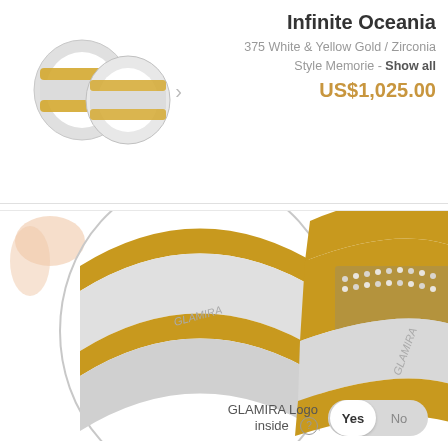[Figure (photo): Two white and yellow gold ring thumbnails with a right arrow navigation indicator]
Infinite Oceania
375 White & Yellow Gold / Zirconia
Style Memorie - Show all
US$1,025.00
[Figure (photo): Large close-up product photo of two Glamira white and yellow gold rings with zirconia stones on white background]
GLAMIRA Logo inside [?]
Yes  No